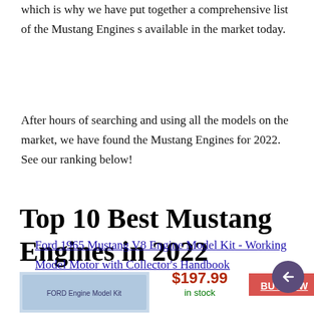which is why we have put together a comprehensive list of the Mustang Engines s available in the market today.
After hours of searching and using all the models on the market, we have found the Mustang Engines for 2022. See our ranking below!
Top 10 Best Mustang Engines in 2022
Ford 1965 Mustang V8 Engine Model Kit - Working Model Motor with Collector's Handbook
$197.99 in stock BUY NOW